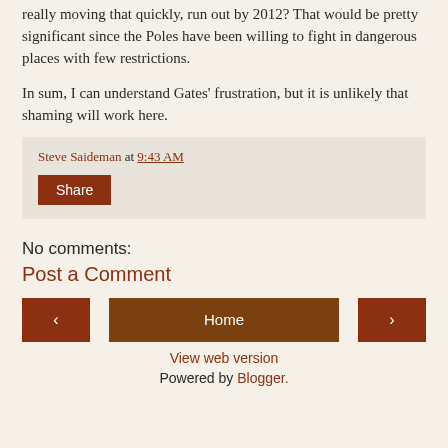really moving that quickly, run out by 2012? That would be pretty significant since the Poles have been willing to fight in dangerous places with few restrictions.
In sum, I can understand Gates' frustration, but it is unlikely that shaming will work here.
Steve Saideman at 9:43 AM
Share
No comments:
Post a Comment
< Home >
View web version
Powered by Blogger.